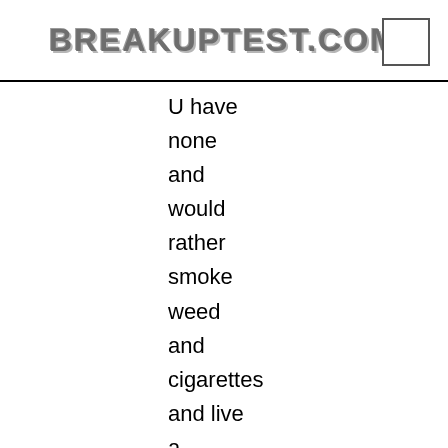BREAKUPTEST.COM
U have none and would rather smoke weed and cigarettes and live a different kind of life than I do... U r a good